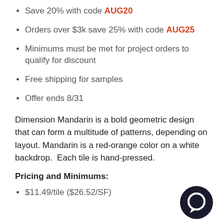Save 20% with code AUG20
Orders over $3k save 25% with code AUG25
Minimums must be met for project orders to qualify for discount
Free shipping for samples
Offer ends 8/31
Dimension Mandarin is a bold geometric design that can form a multitude of patterns, depending on layout. Mandarin is a red-orange color on a white backdrop.  Each tile is hand-pressed.
Pricing and Minimums:
$11.49/tile ($26.52/SF)
[Figure (illustration): Dark circular chat/messenger icon in bottom right corner]